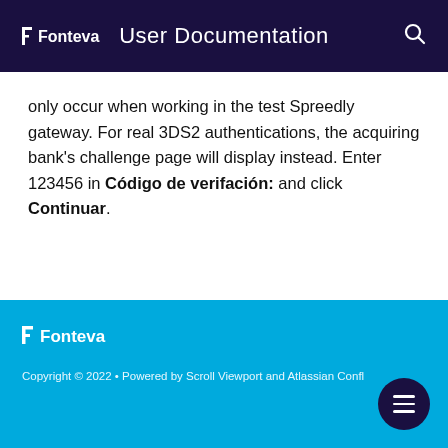Fonteva  User Documentation
only occur when working in the test Spreedly gateway. For real 3DS2 authentications, the acquiring bank's challenge page will display instead. Enter 123456 in Código de verifación: and click Continuar.
Fonteva  Copyright © 2022 • Powered by Scroll Viewport and Atlassian Confl